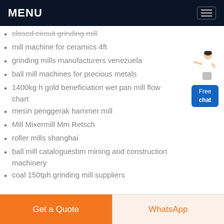MENU
closed circuit grinding mill
mill machine for ceramics 4ft
grinding mills manufacturers venezuela
ball mill machines for precious metals
1400kg h gold beneficiation wet pan mill flow chart
mesin penggerak hammer mill
Mill Mixermill Mm Retsch
roller mills shanghai
ball mill cataloguesbm mining and construction machinery
coal 150tph grinding mill suppliers
[Figure (illustration): Chat widget with a female figure and a blue Free chat button]
Get a Quote
WhatsApp